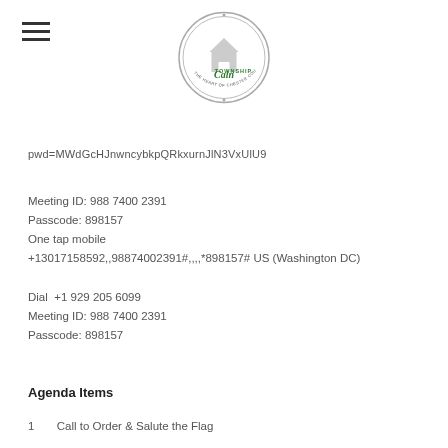[Figure (logo): Caln Township seal/logo with text 'Caln TOWNSHIP THE HEART OF CHESTER COUNTY']
pwd=MWdGcHJnwncybkpQRkxurnJlN3VxUlU9
Meeting ID: 988 7400 2391
Passcode: 898157
One tap mobile
+13017158592,,98874002391#,,,,*898157# US (Washington DC)
Dial  +1 929 205 6099
Meeting ID: 988 7400 2391
Passcode: 898157
Agenda Items
1        Call to Order & Salute the Flag